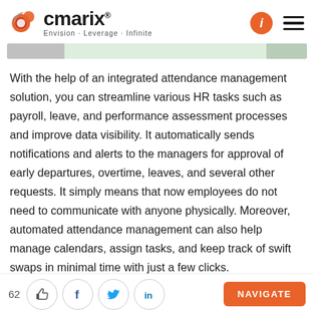cmarix® — Envision · Leverage · Infinite
With the help of an integrated attendance management solution, you can streamline various HR tasks such as payroll, leave, and performance assessment processes and improve data visibility. It automatically sends notifications and alerts to the managers for approval of early departures, overtime, leaves, and several other requests. It simply means that now employees do not need to communicate with anyone physically. Moreover, automated attendance management can also help manage calendars, assign tasks, and keep track of swift swaps in minimal time with just a few clicks.
62  [thumbs up] [facebook] [twitter] [linkedin]  NAVIGATE